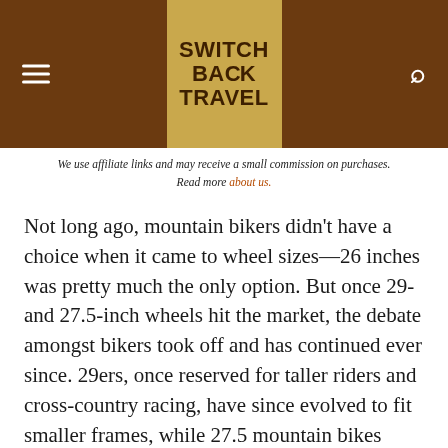SWITCH BACK TRAVEL
We use affiliate links and may receive a small commission on purchases. Read more about us.
Not long ago, mountain bikers didn't have a choice when it came to wheel sizes—26 inches was pretty much the only option. But once 29- and 27.5-inch wheels hit the market, the debate amongst bikers took off and has continued ever since. 29ers, once reserved for taller riders and cross-country racing, have since evolved to fit smaller frames, while 27.5 mountain bikes have never looked better for those with a playful riding style. So how do you decide what's best for you? To help make the buying process easier, below we break down 27.5- and 29-inch wheels, including differences in ride experience